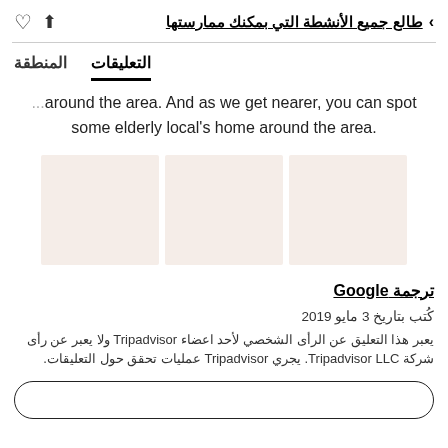طالع جميع الأنشطة التي بمكنك ممارستها
المنطقة  التعليقات
...around the area. And as we get nearer, you can spot some elderly local's home around the area.
[Figure (photo): Three light pink/beige placeholder photo tiles arranged in a row]
ترجمة Google
كُتب بتاريخ 3 مايو 2019
يعبر هذا التعليق عن الرأى الشخصي لأحد اعضاء Tripadvisor ولا يعبر عن رأى شركة Tripadvisor LLC. يجري Tripadvisor عمليات تحقق حول التعليقات.